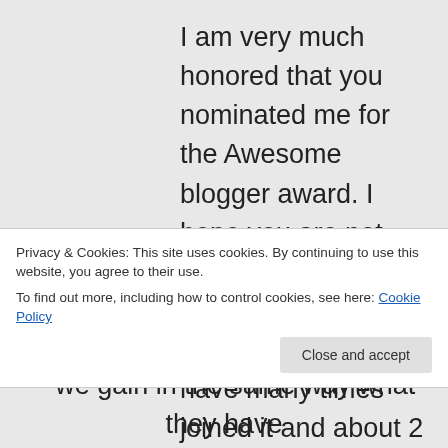I am very much honored that you nominated me for the Awesome blogger award. I hope you are not disappointed when I do not participate in awards sharing. I have many times joined it and about 2 years ago I have stopped it. I think that those who have not got the opportunity of participating in such awards giving and accepting, it should be their turn now. Whenever you have questions or you want to know more about spirituality, then you
Privacy & Cookies: This site uses cookies. By continuing to use this website, you agree to their use.
To find out more, including how to control cookies, see here: Cookie Policy
– we gain in the same way what they have